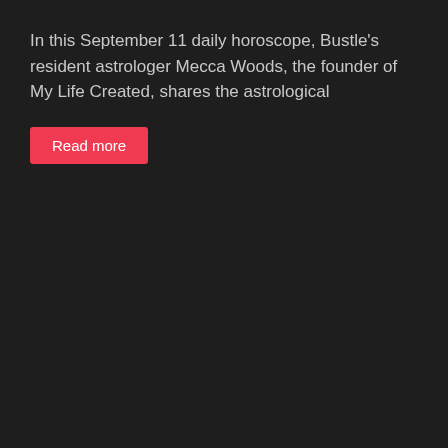In this September 11 daily horoscope, Bustle's resident astrologer Mecca Woods, the founder of My Life Created, shares the astrological
Read more